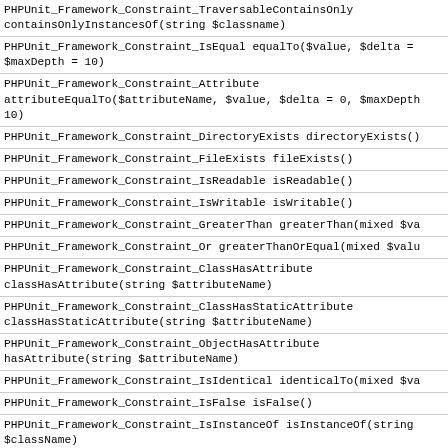| PHPUnit_Framework_Constraint_TraversableContainsOnly containsOnlyInstancesOf(string $classname) |
| PHPUnit_Framework_Constraint_IsEqual equalTo($value, $delta =
$maxDepth = 10) |
| PHPUnit_Framework_Constraint_Attribute attributeEqualTo($attributeName, $value, $delta = 0, $maxDepth
10) |
| PHPUnit_Framework_Constraint_DirectoryExists directoryExists() |
| PHPUnit_Framework_Constraint_FileExists fileExists() |
| PHPUnit_Framework_Constraint_IsReadable isReadable() |
| PHPUnit_Framework_Constraint_IsWritable isWritable() |
| PHPUnit_Framework_Constraint_GreaterThan greaterThan(mixed $va |
| PHPUnit_Framework_Constraint_Or greaterThanOrEqual(mixed $valu |
| PHPUnit_Framework_Constraint_ClassHasAttribute classHasAttribute(string $attributeName) |
| PHPUnit_Framework_Constraint_ClassHasStaticAttribute classHasStaticAttribute(string $attributeName) |
| PHPUnit_Framework_Constraint_ObjectHasAttribute hasAttribute(string $attributeName) |
| PHPUnit_Framework_Constraint_IsIdentical identicalTo(mixed $va |
| PHPUnit_Framework_Constraint_IsFalse isFalse() |
| PHPUnit_Framework_Constraint_IsInstanceOf isInstanceOf(string
$className) |
| PHPUnit_Framework_Constraint_IsNull isNull() |
| PHPUnit_Framework_Constraint_IsTrue isTrue() |